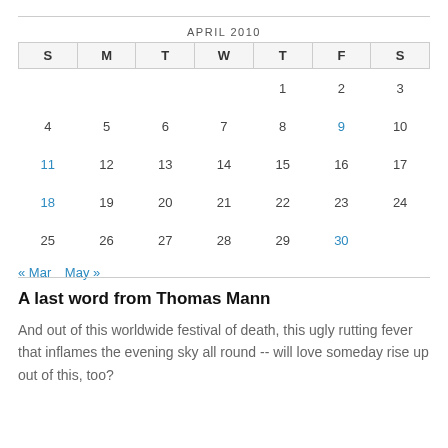| S | M | T | W | T | F | S |
| --- | --- | --- | --- | --- | --- | --- |
|  |  |  |  | 1 | 2 | 3 |
| 4 | 5 | 6 | 7 | 8 | 9 | 10 |
| 11 | 12 | 13 | 14 | 15 | 16 | 17 |
| 18 | 19 | 20 | 21 | 22 | 23 | 24 |
| 25 | 26 | 27 | 28 | 29 | 30 |  |
« Mar   May »
A last word from Thomas Mann
And out of this worldwide festival of death, this ugly rutting fever that inflames the evening sky all round -- will love someday rise up out of this, too?